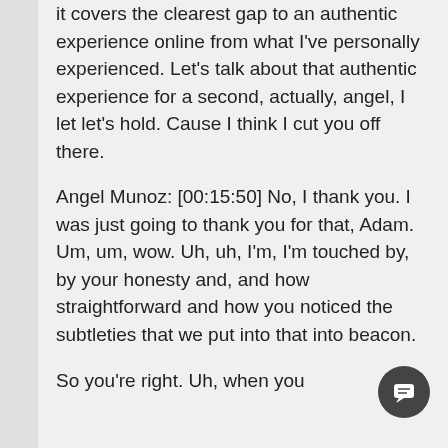it covers the clearest gap to an authentic experience online from what I've personally experienced. Let's talk about that authentic experience for a second, actually, angel, I let let's hold. Cause I think I cut you off there.
Angel Munoz: [00:15:50] No, I thank you. I was just going to thank you for that, Adam. Um, um, wow. Uh, uh, I'm, I'm touched by, by your honesty and, and how straightforward and how you noticed the subtleties that we put into that into beacon.
So you're right. Uh, when you